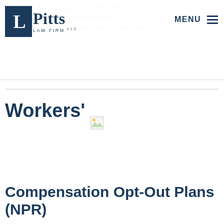that power was used by former President Trump to communicate with the woman, whose name is Krystle Meloy, was 25. Read more
[Figure (logo): Pitts Law Firm LLC logo — dark blue square with white 'L' letterform, beside 'Pitts' in dark blue serif font and 'LAW FIRM LLC' in small caps]
MENU ☰
Workers'
[Figure (photo): Broken/missing image placeholder icon]
Compensation Opt-Out Plans (NPR)